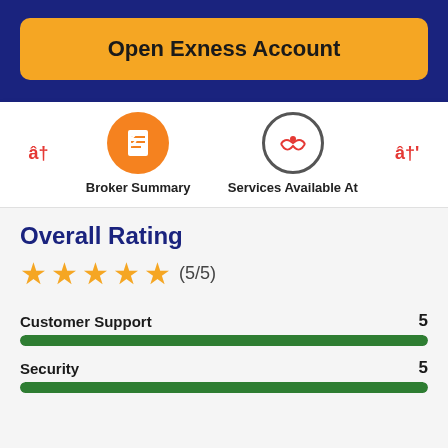Open Exness Account
[Figure (infographic): Navigation tabs with two icons: orange circle with checklist icon labeled 'Broker Summary', and gray circle with red handshake icon labeled 'Services Available At'. Red arrow characters on either side.]
Overall Rating
★★★★★ (5/5)
Customer Support  5
Security  5